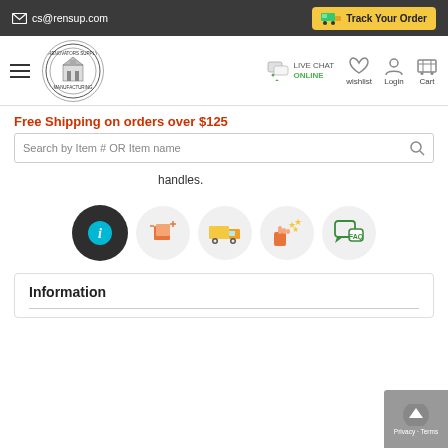cs@rensup.com | Track Your Order
[Figure (screenshot): Renovators Supply Manufacturing logo — circular seal with building illustration]
[Figure (infographic): Navigation bar with hamburger menu, Live Chat Online, wishlist heart icon, Login person icon, Cart icon]
Free Shipping on orders over $125
Search by Item # OR Item name
handles.
[Figure (infographic): Row of 5 circular icons: info (dark circle with i), dimensions box, delivery truck, review stars with hand, FAQ speech bubble]
Information